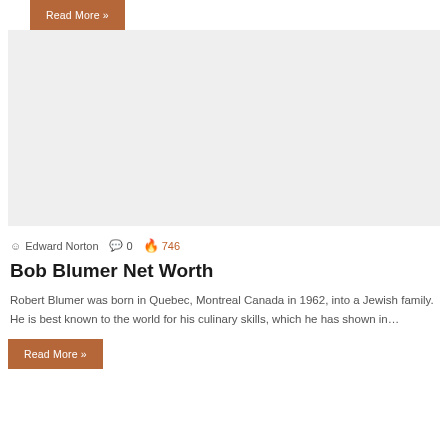Read More »
[Figure (photo): Placeholder image with light grey background for Bob Blumer article thumbnail]
Edward Norton  0  746
Bob Blumer Net Worth
Robert Blumer was born in Quebec, Montreal Canada in 1962, into a Jewish family. He is best known to the world for his culinary skills, which he has shown in…
Read More »